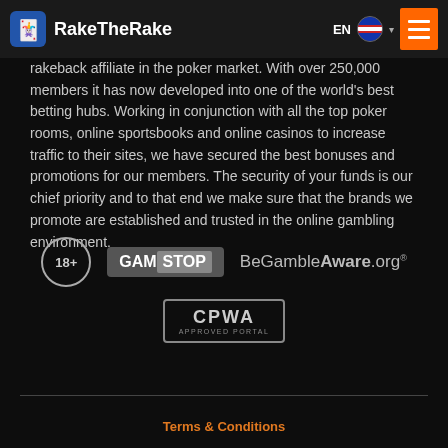RakeTheRake | EN
rakeback affiliate in the poker market. With over 250,000 members it has now developed into one of the world's best betting hubs. Working in conjunction with all the top poker rooms, online sportsbooks and online casinos to increase traffic to their sites, we have secured the best bonuses and promotions for our members. The security of your funds is our chief priority and to that end we make sure that the brands we promote are established and trusted in the online gambling environment.
[Figure (logo): 18+ badge, GamStop logo, BeGambleAware.org logo]
[Figure (logo): CPWA Approved Portal badge]
Terms & Conditions